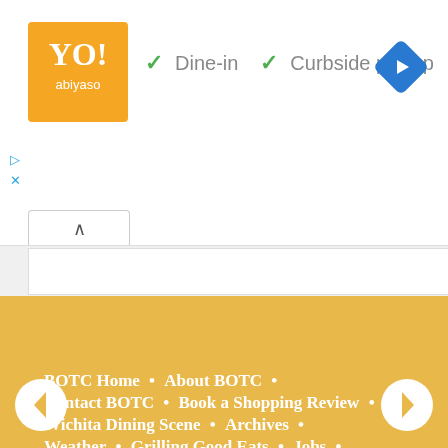[Figure (logo): Orange square logo with stylized text]
✓ Dine-in  ✓ Curbside pickup
[Figure (other): Blue navigation diamond/arrow icon]
▷
×
∧
BOTC Home  •  About BOTC  •
Contact BOTC  •  Book a Shopping Review  •
Wichita Dining Scene  •  Archives  •
Weather  •  Grilling Good Eats  •  Jobs  •
Buy Me a Coffee
Top⊕
[Figure (other): Left arrow circle button]
[Figure (other): Right arrow circle button]